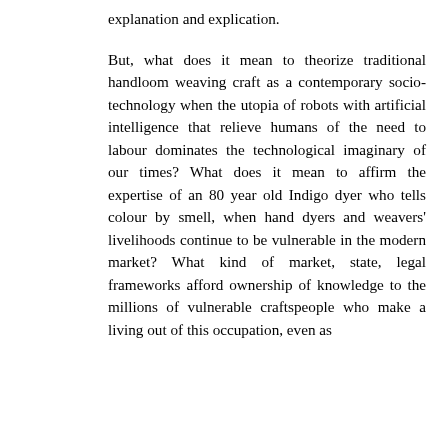explanation and explication.
But, what does it mean to theorize traditional handloom weaving craft as a contemporary socio-technology when the utopia of robots with artificial intelligence that relieve humans of the need to labour dominates the technological imaginary of our times? What does it mean to affirm the expertise of an 80 year old Indigo dyer who tells colour by smell, when hand dyers and weavers' livelihoods continue to be vulnerable in the modern market? What kind of market, state, legal frameworks afford ownership of knowledge to the millions of vulnerable craftspeople who make a living out of this occupation, even as